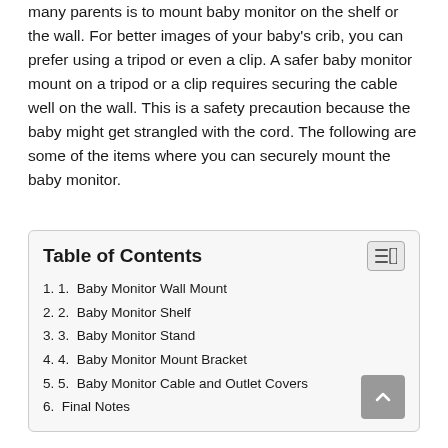many parents is to mount baby monitor on the shelf or the wall. For better images of your baby's crib, you can prefer using a tripod or even a clip. A safer baby monitor mount on a tripod or a clip requires securing the cable well on the wall. This is a safety precaution because the baby might get strangled with the cord. The following are some of the items where you can securely mount the baby monitor.
Table of Contents
1. 1. Baby Monitor Wall Mount
2. 2. Baby Monitor Shelf
3. 3. Baby Monitor Stand
4. 4. Baby Monitor Mount Bracket
5. 5. Baby Monitor Cable and Outlet Covers
6. Final Notes